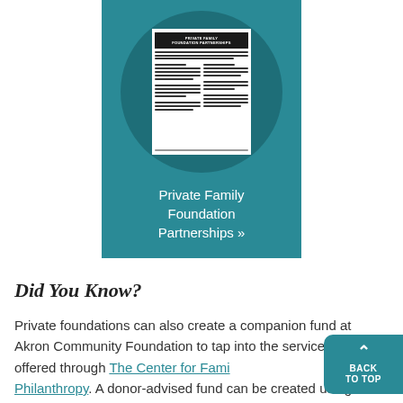[Figure (screenshot): Teal card with a dark circle containing a thumbnail of a document titled 'Private Family Foundation Partnerships', with white text link 'Private Family Foundation Partnerships »' below]
Did You Know?
Private foundations can also create a companion fund at Akron Community Foundation to tap into the services offered through The Center for Family Philanthropy. A donor-advised fund can be created using some or all of a private foundation's mandatory 5% payout. Once the fund is created,